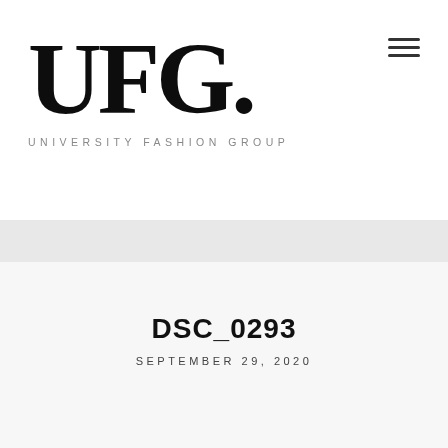[Figure (logo): UFG. University Fashion Group logo — large serif letters U, F, G with a period, and below in spaced sans-serif: UNIVERSITY FASHION GROUP]
DSC_0293
SEPTEMBER 29, 2020